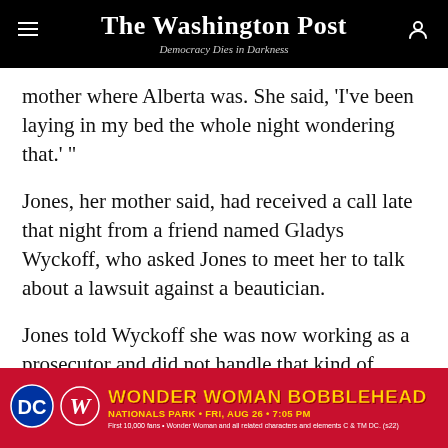The Washington Post — Democracy Dies in Darkness
mother where Alberta was. She said, ‘I’ve been laying in my bed the whole night wondering that.’ ”
Jones, her mother said, had received a call late that night from a friend named Gladys Wyckoff, who asked Jones to meet her to talk about a lawsuit against a beautician.
Jones told Wyckoff she was now working as a prosecutor and did not handle that kind of lawsuit.
“Gladys knew how to rattle her chain,” Shanklin said. “She knew her. ‘Since you’re doing this in…
[Figure (other): Advertisement banner for Wonder Woman Bobblehead at Nationals Park, Friday Aug 26, 7:05 PM. DC and Washington Nationals logos shown. Fine print: First 10,000 fans. Wonder Woman and all related characters and elements C & TM DC. (s22)]